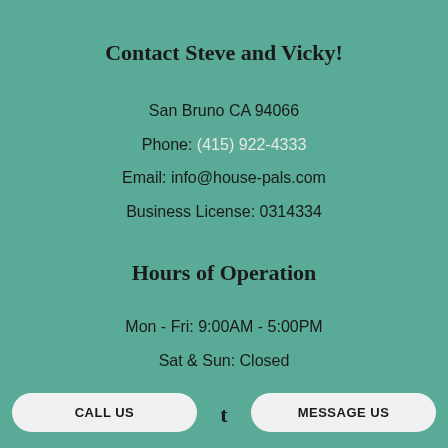Contact Steve and Vicky!
San Bruno CA 94066
Phone: (415) 922-4333
Email: info@house-pals.com
Business License: 0314334
Hours of Operation
Mon - Fri: 9:00AM - 5:00PM
Sat & Sun: Closed
CALL US   MESSAGE US